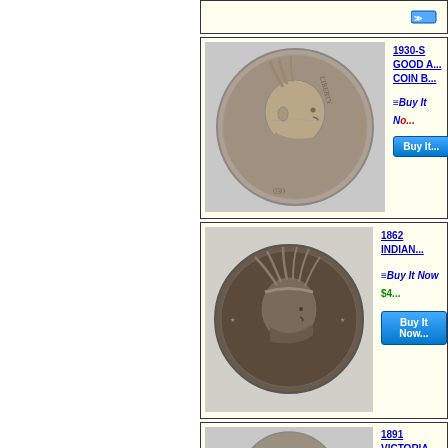[Figure (screenshot): eBay listing page showing coin auction results. Top strip partially visible. Second listing: 1930-S Buffalo Nickel, GOOD A... COIN B..., Buy It Now button. Third listing: 1862 INDIAN Head cent with Buy It Now $4... button. Fourth listing: 1891 VICTORIA coin partially visible at bottom, FREE UK POST...]
1930-S GOOD A... COIN B...
Buy It Now
1862 INDIAN
=Buy It Now $4
Buy It Now
1891 VICTORIA
FREE UK POST...